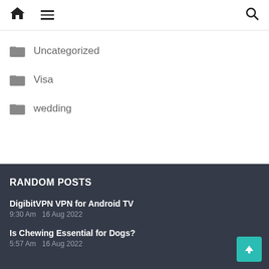Home | Menu | Search
Uncategorized
Visa
wedding
RANDOM POSTS
DigibitVPN VPN for Android TV
9:30 Am    16 Aug 2022
Is Chewing Essential for Dogs?
5:57 Am    16 Aug 2022